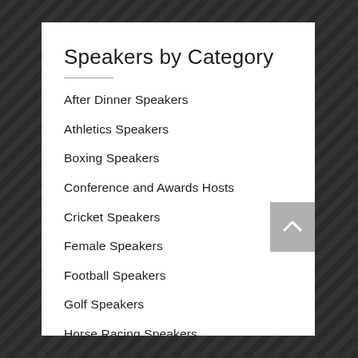Speakers by Category
After Dinner Speakers
Athletics Speakers
Boxing Speakers
Conference and Awards Hosts
Cricket Speakers
Female Speakers
Football Speakers
Golf Speakers
Horse Racing Speakers
Motorsport Speakers
Represented By Our Agency
Rowing Speakers